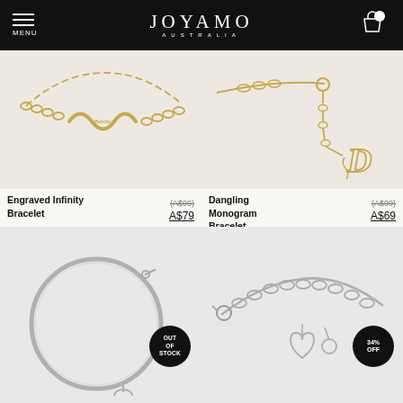JOYAMO AUSTRALIA — MENU
[Figure (photo): Gold engraved infinity bracelet on light beige background]
Engraved Infinity Bracelet  (A$99)  A$79
[Figure (photo): Gold dangling monogram bracelet with letter D charm on light beige background]
Dangling Monogram Bracelet  (A$99)  A$69
[Figure (photo): Silver bangle bracelet with small disc charm, OUT OF STOCK badge]
[Figure (photo): Silver chain bracelet with heart charm, 34% OFF badge]